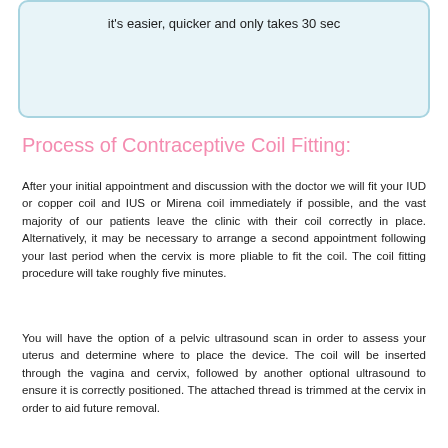it's easier, quicker and only takes 30 sec
Process of Contraceptive Coil Fitting:
After your initial appointment and discussion with the doctor we will fit your IUD or copper coil and IUS or Mirena coil immediately if possible, and the vast majority of our patients leave the clinic with their coil correctly in place. Alternatively, it may be necessary to arrange a second appointment following your last period when the cervix is more pliable to fit the coil. The coil fitting procedure will take roughly five minutes.
You will have the option of a pelvic ultrasound scan in order to assess your uterus and determine where to place the device. The coil will be inserted through the vagina and cervix, followed by another optional ultrasound to ensure it is correctly positioned. The attached thread is trimmed at the cervix in order to aid future removal.